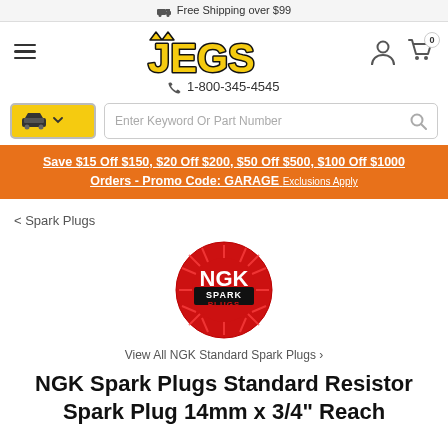🚚 Free Shipping over $99
[Figure (logo): JEGS logo with crown, hamburger menu icon, person icon, cart icon with 0]
✆ 1-800-345-4545
Car selector dropdown and search box: Enter Keyword Or Part Number
Save $15 Off $150, $20 Off $200, $50 Off $500, $100 Off $1000 Orders - Promo Code: GARAGE Exclusions Apply
< Spark Plugs
[Figure (logo): NGK Spark Plugs circular red logo]
View All NGK Standard Spark Plugs >
NGK Spark Plugs Standard Resistor Spark Plug 14mm x 3/4" Reach